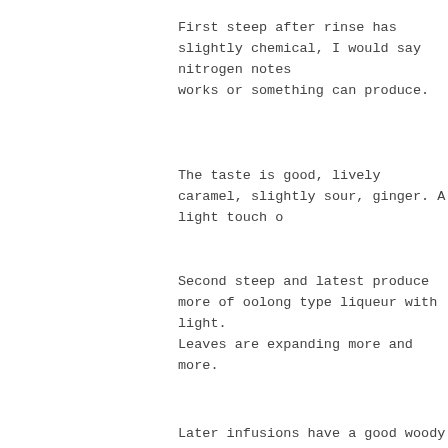First steep after rinse has slightly chemical, I would say nitrogen notes works or something can produce.
The taste is good, lively caramel, slightly sour, ginger. A light touch o
Second steep and latest produce more of oolong type liqueur with light. Leaves are expanding more and more.
Later infusions have a good woody undertones, more lively sour caramel.
[Figure (photo): Blurred photo showing a white rectangular object on a dark red/maroon background]
[Figure (photo): Blurred photo showing a white round object and green object on a dark brownish-red background]
[Figure (photo): Blurred photo showing dark circular objects on a grey/beige background]
[Figure (photo): Blurred photo showing dark circular objects on an orange/brown background]